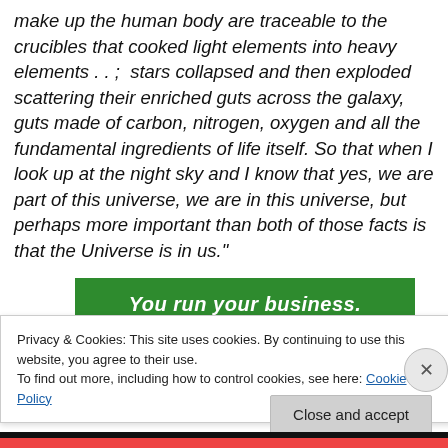make up the human body are traceable to the crucibles that cooked light elements into heavy elements . . .  stars collapsed and then exploded scattering their enriched guts across the galaxy, guts made of carbon, nitrogen, oxygen and all the fundamental ingredients of life itself. So that when I look up at the night sky and I know that yes, we are part of this universe, we are in this universe, but perhaps more important than both of those facts is that the Universe is in us."
[Figure (other): Green banner with text 'You run your business.' in white bold italic font]
Privacy & Cookies: This site uses cookies. By continuing to use this website, you agree to their use.
To find out more, including how to control cookies, see here: Cookie Policy
Close and accept